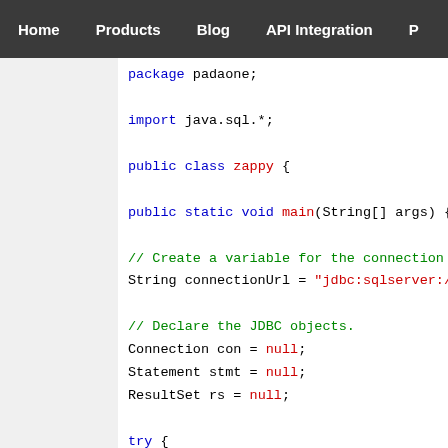Home   Products   Blog   API Integration   P
[Figure (screenshot): Code editor screenshot showing Java source code for a class named 'zappy' with JDBC connection setup including package declaration, imports, class definition, main method, connection string variable, JDBC object declarations (Connection, Statement, ResultSet), try block, Class.forName, and DriverManager.getConnection calls.]